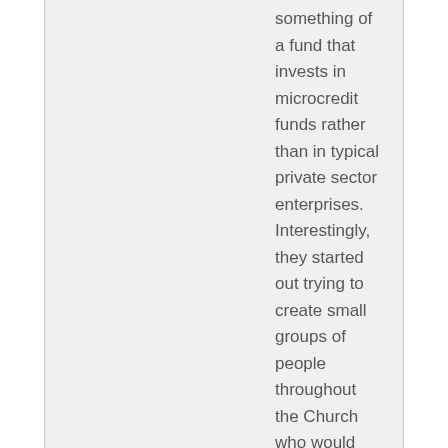something of a fund that invests in microcredit funds rather than in typical private sector enterprises. Interestingly, they started out trying to create small groups of people throughout the Church who would form with the intent of fighting poverty; however, they were given a friendly cease-and-desist order from the Church, and they evolved into their current iteration.
Frank McIntyre
August 5, 2005 at 3:03 pm
Julie, yeah, that sounds about right.
I agree with Ed and Nate on the nature of unions. Unions can be a very effective tool for helping you and your buddies at the expense of the outsider.